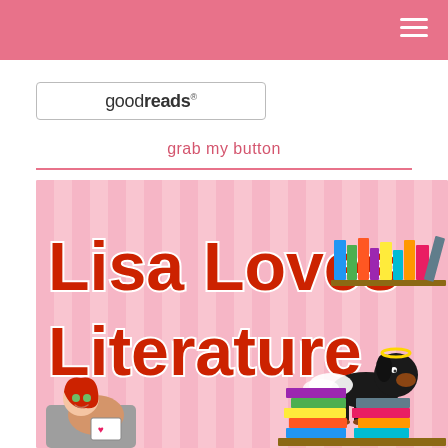[Figure (logo): Goodreads logo in a rounded rectangle box]
grab my button
[Figure (illustration): Lisa Loves Literature blog banner with cartoon red-haired girl reading on a couch, an angel dachshund dog with wings and halo, colorful stacks of books, on a pink striped background with bold red text reading 'Lisa Loves Literature']